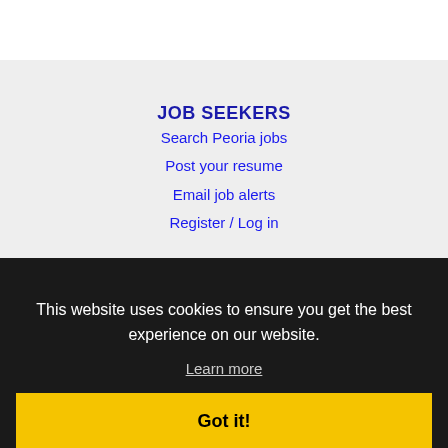JOB SEEKERS
Search Peoria jobs
Post your resume
Email job alerts
Register / Log in
This website uses cookies to ensure you get the best experience on our website.
Learn more
Got it!